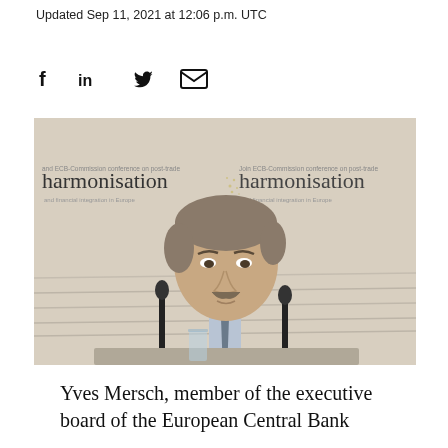Updated Sep 11, 2021 at 12:06 p.m. UTC
[Figure (other): Social media share icons: Facebook (f), LinkedIn (in), Twitter bird, Email envelope]
[Figure (photo): Man in dark suit and tie speaking at a podium with two microphones. Background shows a conference banner reading 'harmonisation' and 'ECB-Commission conference on post-trade'. A glass of water is visible on the podium.]
Yves Mersch, member of the executive board of the European Central Bank